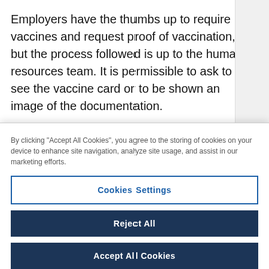Employers have the thumbs up to require vaccines and request proof of vaccination, but the process followed is up to the human resources team. It is permissible to ask to see the vaccine card or to be shown an image of the documentation.
However, the recently updated guidance from the California Department of Fair Employment and
[Figure (screenshot): Sidebar icons: share icon, hide/eye-off icon, and a download/print icon on a light gray background]
By clicking "Accept All Cookies", you agree to the storing of cookies on your device to enhance site navigation, analyze site usage, and assist in our marketing efforts.
Cookies Settings
Reject All
Accept All Cookies